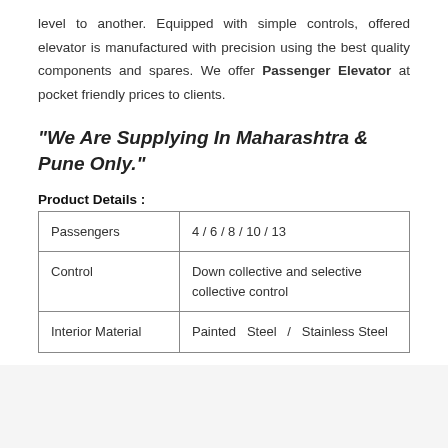level to another. Equipped with simple controls, offered elevator is manufactured with precision using the best quality components and spares. We offer Passenger Elevator at pocket friendly prices to clients.
"We Are Supplying In Maharashtra & Pune Only."
Product Details :
|  |  |
| --- | --- |
| Passengers | 4 / 6 / 8 / 10 / 13 |
| Control | Down collective and selective collective control |
| Interior Material | Painted Steel / Stainless Steel |